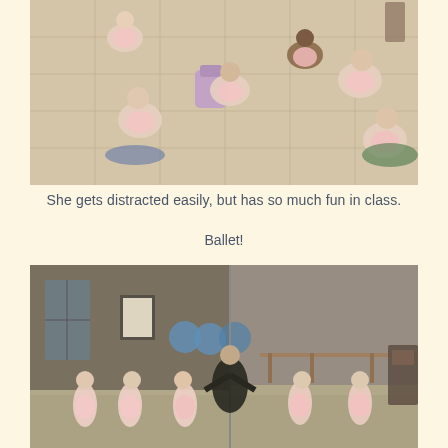[Figure (photo): Young girls in pink ballet leotards sitting on a studio floor, arranging their belongings, viewed from above in a large dance studio with tile flooring.]
She gets distracted easily, but has so much fun in class.
Ballet!
[Figure (photo): Young girls in pink ballet attire in a dance studio with mirrors, a dance instructor in black clothing leading the class, exercise balls visible in the background.]